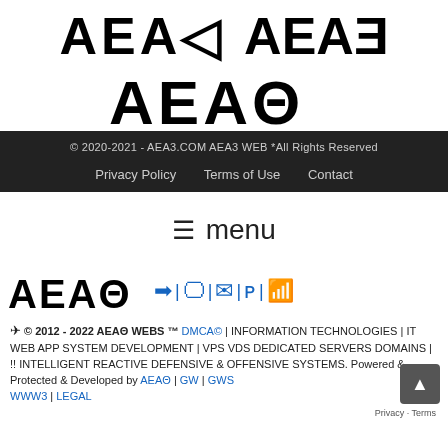AEA3
© 2020-2021 - AEA3.COM AEA3 WEB *All Rights Reserved
Privacy Policy   Terms of Use   Contact
☰ menu
[Figure (logo): AEA3 logo with icons: login arrow, monitor, envelope, PayPal, RSS feed]
© 2012 - 2022 AEA3 WEBS ™ DMCA© | INFORMATION TECHNOLOGIES | IT WEB APP SYSTEM DEVELOPMENT | VPS VDS DEDICATED SERVERS DOMAINS | !! INTELLIGENT REACTIVE DEFENSIVE & OFFENSIVE SYSTEMS. Powered & Protected & Developed by AEA3 | GW | GWS | WWW3 | LEGAL